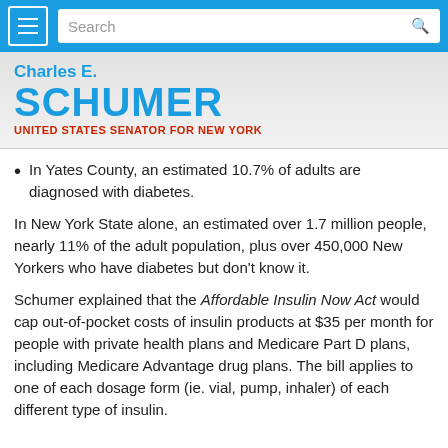Charles E. Schumer - United States Senator for New York
In Yates County, an estimated 10.7% of adults are diagnosed with diabetes.
In New York State alone, an estimated over 1.7 million people, nearly 11% of the adult population, plus over 450,000 New Yorkers who have diabetes but don't know it.
Schumer explained that the Affordable Insulin Now Act would cap out-of-pocket costs of insulin products at $35 per month for people with private health plans and Medicare Part D plans, including Medicare Advantage drug plans. The bill applies to one of each dosage form (ie. vial, pump, inhaler) of each different type of insulin.